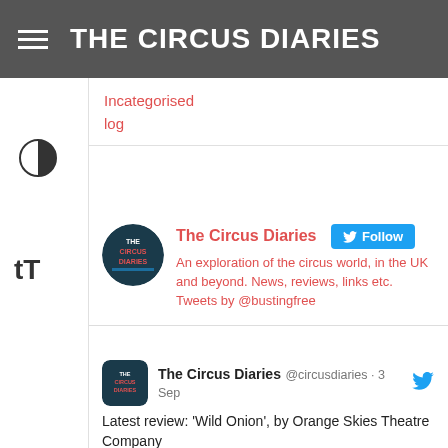THE CIRCUS DIARIES
Incategorised
log
[Figure (infographic): Twitter Follow widget for The Circus Diaries. Shows circular avatar with 'THE CIRCUS DIARIES' logo, account name 'The Circus Diaries', a blue Follow button with Twitter bird icon, and description: 'An exploration of the circus world, in the UK and beyond. News, reviews, links etc. Tweets by @bustingfree']
[Figure (screenshot): Tweet from The Circus Diaries (@circusdiaries) dated 3 Sep with Twitter bird icon. Text: 'Latest review: Wild Onion, by Orange Skies Theatre Company' with link https://thecircusdiaries.com/2022/09/03/wild-onion-by-orange... Reply, retweet, like icons and Twitter label shown.]